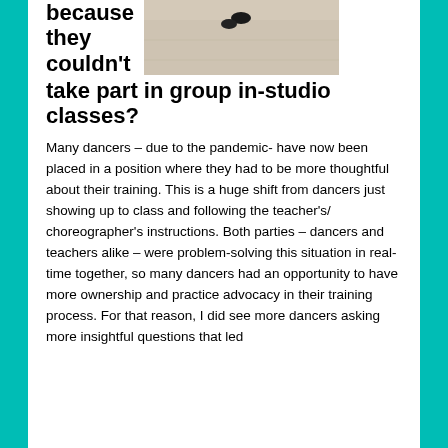because they couldn't take part in group in-studio classes?
[Figure (photo): Top-down photo of dance studio floor with shoes/feet visible]
Many dancers – due to the pandemic- have now been placed in a position where they had to be more thoughtful about their training. This is a huge shift from dancers just showing up to class and following the teacher's/ choreographer's instructions. Both parties – dancers and teachers alike – were problem-solving this situation in real-time together, so many dancers had an opportunity to have more ownership and practice advocacy in their training process. For that reason, I did see more dancers asking more insightful questions that led